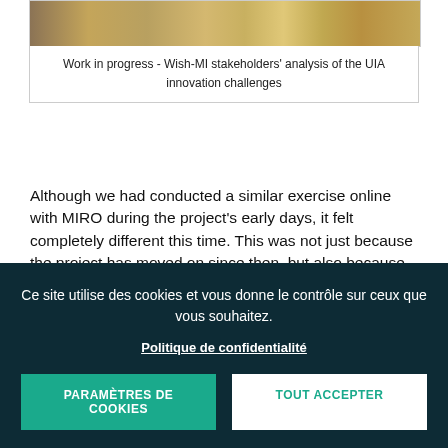[Figure (photo): Work in progress photo showing sticky notes on a wall/board for Wish-MI stakeholders analysis]
Work in progress - Wish-MI stakeholders' analysis of the UIA innovation challenges
Although we had conducted a similar exercise online with MIRO during the project's early days, it felt completely different this time. This was not just because the project has moved on since then, but also because the collaborative dynamic was very different when we were together in the same room, piggy backing on one another's comments.
Ce site utilise des cookies et vous donne le contrôle sur ceux que vous souhaitez.

Politique de confidentialité

PARAMÈTRES DE COOKIES | TOUT ACCEPTER